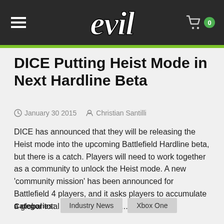evil
DICE Putting Heist Mode in Next Hardline Beta
January 30 2015  Christian Santilli
DICE has announced that they will be releasing the Heist mode into the upcoming Battlefield Hardline beta, but there is a catch. Players will need to work together as a community to unlock the Heist mode. A new 'community mission' has been announced for Battlefield 4 players, and it asks players to accumulate a global total of 2 billion points...
Categories:  Industry News  Xbox One